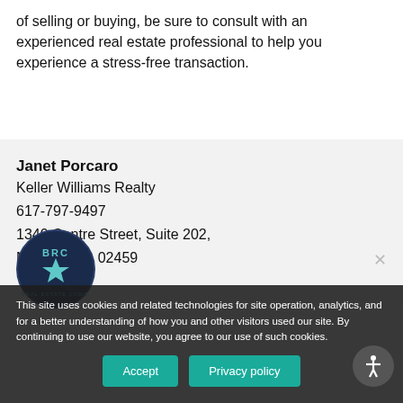of selling or buying, be sure to consult with an experienced real estate professional to help you experience a stress-free transaction.
Janet Porcaro
Keller Williams Realty
617-797-9497
1340 Centre Street, Suite 202,
Newton, MA 02459
[Figure (logo): Circular logo with a star and text around the border, dark navy blue]
This site uses cookies and related technologies for site operation, analytics, and for a better understanding of how you and other visitors used our site. By continuing to use our website, you agree to our use of such cookies.
Accept
Privacy policy